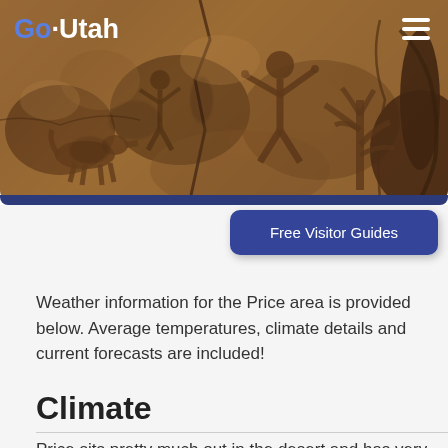[Figure (photo): Header banner showing Utah petroglyphs carved into reddish-brown rock surface with ancient figures and animals]
Go·Utah
Free Visitor Guides
Weather information for the Price area is provided below. Average temperatures, climate details and current forecasts are included!
Climate
Price sits pretty much out in the desert and has very